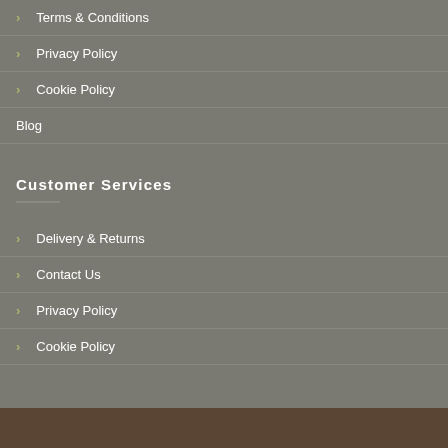Terms & Conditions
Privacy Policy
Cookie Policy
Blog
Customer Services
Delivery & Returns
Contact Us
Privacy Policy
Cookie Policy